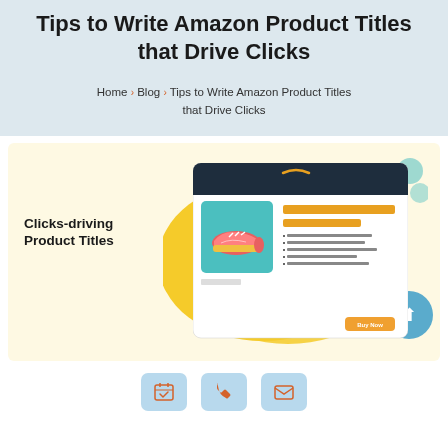Tips to Write Amazon Product Titles that Drive Clicks
Home › Blog › Tips to Write Amazon Product Titles that Drive Clicks
[Figure (illustration): Illustration showing a mock Amazon product listing page with a sneaker image, orange title bars, bullet points, and a Buy Now button, with text 'Clicks-driving Product Titles' on the left, yellow blob shape in background, teal decorative circles top right and bottom right.]
[Figure (infographic): Bottom bar with three rounded button icons: calendar/check icon, phone icon, and envelope icon, on a light blue-gray background.]